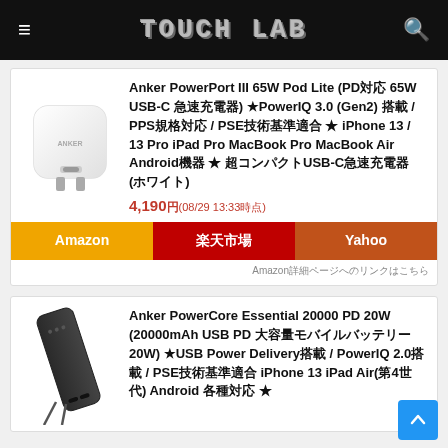TOUCH LAB
[Figure (photo): Anker white USB-C charger cube product photo]
Anker PowerPort III 65W Pod Lite (PD対応 65W USB-C 急速充電器) PowerIQ 3.0 (Gen2) 搭載 / PPS規格対応 / PSE技術基準適合 ★ iPhone 13 / 13 Pro iPad Pro MacBook Pro MacBook Air Android機器 ★ 超コンパクトUSB-C急速充電器 (ホワイト)
4,190円(08/29 13:33時点)
Amazon　楽天市場　Yahoo
Amazonで詳細を見る・購入はこちら
[Figure (photo): Anker black power bank product photo]
Anker PowerCore Essential 20000 PD 20W (20000mAh USB PD 大容量モバイルバッテリー 20W) USB Power Delivery搭載 / PowerIQ 2.0搭載 / PSE技術基準適合 iPhone 13 iPad Air(第4世代) Android 各種対応 (ブラック)